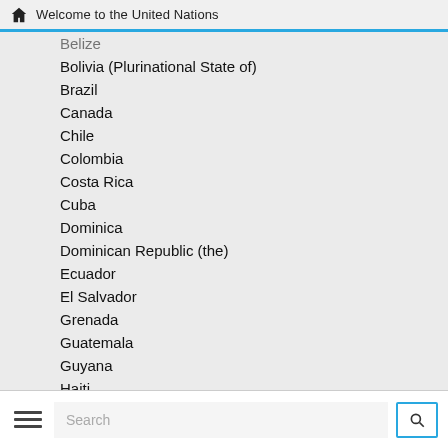Welcome to the United Nations
Belize
Bolivia (Plurinational State of)
Brazil
Canada
Chile
Colombia
Costa Rica
Cuba
Dominica
Dominican Republic (the)
Ecuador
El Salvador
Grenada
Guatemala
Guyana
Haiti
Honduras
Jamaica
Mexico